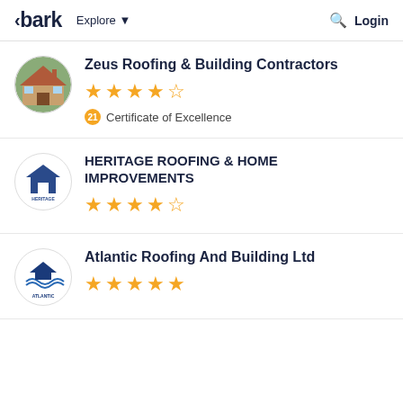bark  Explore  Login
Zeus Roofing & Building Contractors  ★★★★½  21 Certificate of Excellence
HERITAGE ROOFING & HOME IMPROVEMENTS  ★★★★½
Atlantic Roofing And Building Ltd  ★★★★★